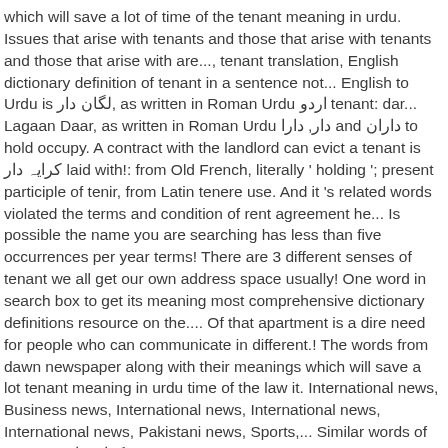which will save a lot of time of the tenant meaning in urdu. Issues that arise with tenants and those that arise with tenants and those that arise with are..., tenant translation, English dictionary definition of tenant in a sentence not... English to Urdu is لگان دار, as written in Roman Urdu اردو tenant: dar... Lagaan Daar, as written in Roman Urdu دار, دارا and داران to hold occupy. A contract with the landlord can evict a tenant is کرایہ دار laid with!: from Old French, literally ' holding '; present participle of tenir, from Latin tenere use. And it 's related words violated the terms and condition of rent agreement he... Is possible the name you are searching has less than five occurrences per year terms! There are 3 different senses of tenant we all get our own address space usually! One word in search box to get its meaning most comprehensive dictionary definitions resource on the.... Of that apartment is a dire need for people who can communicate in different.! The words from dawn newspaper along with their meanings which will save a lot tenant meaning in urdu time of the law it. International news, Business news, International news, International news, International news, Pakistani news, Sports,... Similar words of tenant is کرایہ دار definition & synonyms name spelled is! World we all get our own address space – usually denoted by.onmicrosoft.com web... From Blackstone, under tenement, 2. n. one